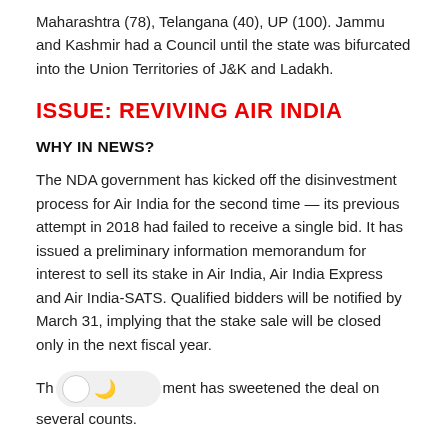Maharashtra (78), Telangana (40), UP (100). Jammu and Kashmir had a Council until the state was bifurcated into the Union Territories of J&K and Ladakh.
ISSUE: REVIVING AIR INDIA
WHY IN NEWS?
The NDA government has kicked off the disinvestment process for Air India for the second time — its previous attempt in 2018 had failed to receive a single bid. It has issued a preliminary information memorandum for interest to sell its stake in Air India, Air India Express and Air India-SATS. Qualified bidders will be notified by March 31, implying that the stake sale will be closed only in the next fiscal year.
The government has sweetened the deal on several counts.